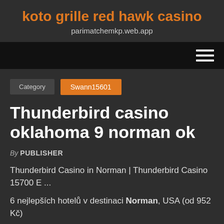koto grille red hawk casino
parimatchemkp.web.app
Category | Swann15601
Thunderbird casino oklahoma 9 norman ok
By PUBLISHER
Thunderbird Casino in Norman | Thunderbird Casino 15700 E ...
6 nejlepších hotelů v destinaci Norman, USA (od 952 Kč)